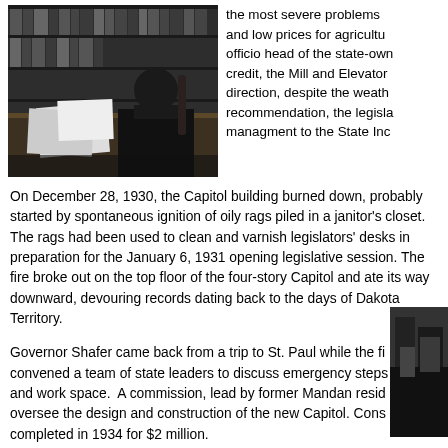[Figure (photo): Black and white photograph of a man sitting at a desk with papers, in front of bookshelves]
the most severe problems... and low prices for agricultu... officio head of the state-own... credit, the Mill and Elevator... direction, despite the weath... recommendation, the legisla... managment to the State Inc...
On December 28, 1930, the Capitol building burned down, probably started by spontaneous ignition of oily rags piled in a janitor's closet. The rags had been used to clean and varnish legislators' desks in preparation for the January 6, 1931 opening legislative session. The fire broke out on the top floor of the four-story Capitol and ate its way downward, devouring records dating back to the days of Dakota Territory.
[Figure (photo): Partial black and white photograph visible on the right side, partially cropped]
Governor Shafer came back from a trip to St. Paul while the fi... convened a team of state leaders to discuss emergency steps... and work space.  A commission, lead by former Mandan resid... oversee the design and construction of the new Capitol. Cons... completed in 1934 for $2 million.
Governor Shafer also assisted NPL first... and fish...